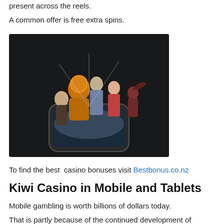present across the reels.
A common offer is free extra spins.
[Figure (photo): Animated/CGI characters emerging from a smartphone screen against a dark background, depicting a mobile casino game scene.]
To find the best casino bonuses visit Bestbonus.co.nz
Kiwi Casino in Mobile and Tablets
Mobile gambling is worth billions of dollars today.
That is partly because of the continued development of smartphone technology.
Thus, they are more efficient and offer faster responses when playing.